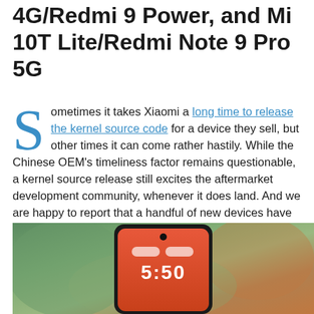4G/Redmi 9 Power, and Mi 10T Lite/Redmi Note 9 Pro 5G
Sometimes it takes Xiaomi a long time to release the kernel source code for a device they sell, but other times it can come rather hastily. While the Chinese OEM's timeliness factor remains questionable, a kernel source release still excites the aftermarket development community, whenever it does land. And we are happy to report that a handful of new devices have had their kernel sources released, namely the Redmi 9, the Redmi 9 Power (sold as the Redmi Note 9 4G in China), and the Mi 10T Lite AKA the Redmi Note 9 Pro 5G.
[Figure (photo): Photo of a smartphone (likely Redmi/Xiaomi device) showing 5:50 on its screen, against a blurred green/orange background]